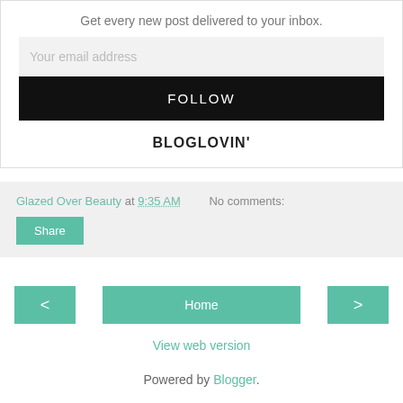Get every new post delivered to your inbox.
Your email address
FOLLOW
BLOGLOVIN'
Glazed Over Beauty at 9:35 AM   No comments:
Share
<
Home
>
View web version
Powered by Blogger.